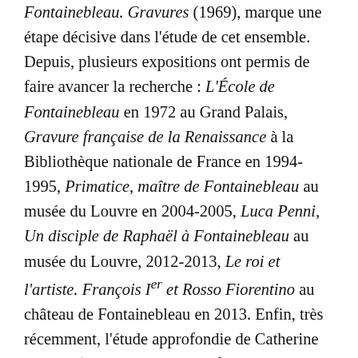Fontainebleau. Gravures (1969), marque une étape décisive dans l'étude de cet ensemble. Depuis, plusieurs expositions ont permis de faire avancer la recherche : L'École de Fontainebleau en 1972 au Grand Palais, Gravure française de la Renaissance à la Bibliothèque nationale de France en 1994-1995, Primatice, maître de Fontainebleau au musée du Louvre en 2004-2005, Luca Penni, Un disciple de Raphaël à Fontainebleau au musée du Louvre, 2012-2013, Le roi et l'artiste. François Ier et Rosso Fiorentino au château de Fontainebleau en 2013. Enfin, très récemment, l'étude approfondie de Catherine Jenkins (Prints at the court of Fontainebleau, c. 1542-1547, 2017) a permis des avancées majeures de la connaissance des estampes produites à Fontainebleau, tandis que des expositions (The Renaissance of Etching, Metropolitan Museum of Art, 2019-2020 ; Gravure en clair-obscur, Musée du Louvre, 2018-2019) ont pu se